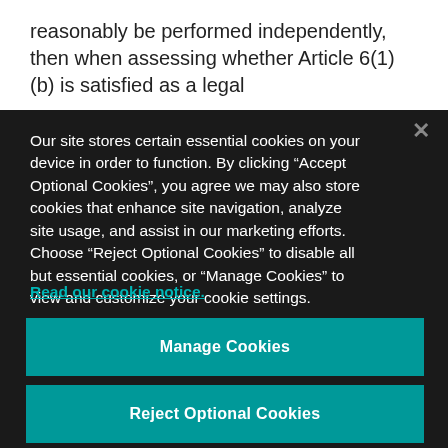reasonably be performed independently, then when assessing whether Article 6(1)(b) is satisfied as a legal
Our site stores certain essential cookies on your device in order to function. By clicking “Accept Optional Cookies”, you agree we may also store cookies that enhance site navigation, analyze site usage, and assist in our marketing efforts. Choose “Reject Optional Cookies” to disable all but essential cookies, or “Manage Cookies” to view and customize your cookie settings.
Read our cookie notice.
Manage Cookies
Reject Optional Cookies
Accept Optional Cookies